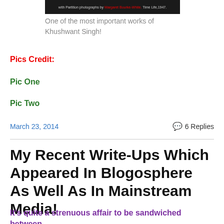[Figure (photo): Dark banner image with text: 'with Partition photographs by Margaret Bourke-White. Time Life, 1947.']
One of the most important works of Khushwant Singh!
Pics Credit:
Pic One
Pic Two
March 23, 2014   💬 6 Replies
My Recent Write-Ups Which Appeared In Blogosphere As Well As In Mainstream Media!
It's quite a strenuous affair to be sandwiched between